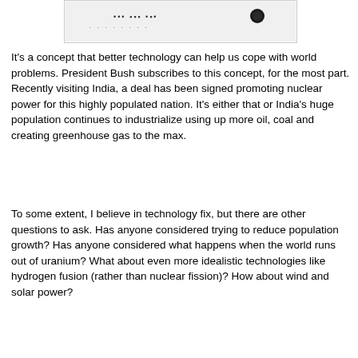[Figure (other): Partial image visible at top of page, appears to be a cropped photograph with some text and a small dark circular element visible]
It's a concept that better technology can help us cope with world problems. President Bush subscribes to this concept, for the most part. Recently visiting India, a deal has been signed promoting nuclear power for this highly populated nation. It's either that or India's huge population continues to industrialize using up more oil, coal and creating greenhouse gas to the max.
To some extent, I believe in technology fix, but there are other questions to ask. Has anyone considered trying to reduce population growth? Has anyone considered what happens when the world runs out of uranium? What about even more idealistic technologies like hydrogen fusion (rather than nuclear fission)? How about wind and solar power?